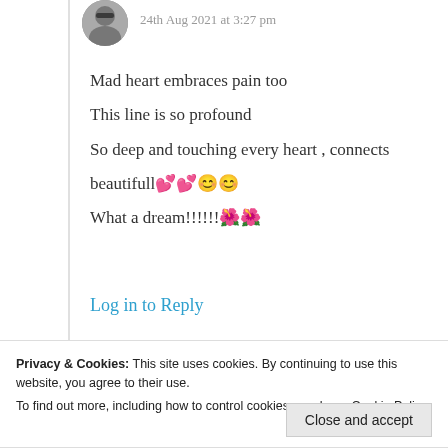[Figure (photo): Circular avatar photo of a woman wearing sunglasses]
24th Aug 2021 at 3:27 pm
Mad heart embraces pain too
This line is so profound
So deep and touching every heart , connects beautifull💕💕😊😊
What a dream!!!!!!🌺🌺
★ Liked by 5 people
Log in to Reply
Privacy & Cookies: This site uses cookies. By continuing to use this website, you agree to their use.
To find out more, including how to control cookies, see here: Cookie Policy
Close and accept